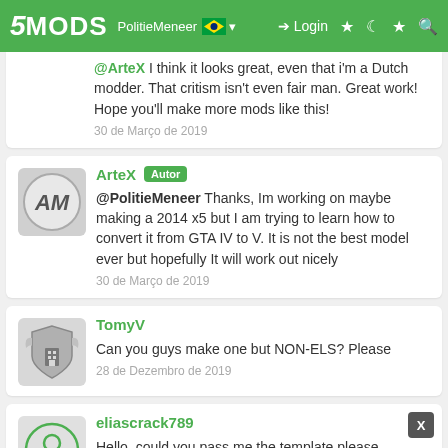5MODS | Login
@ArteX I think it looks great, even that i'm a Dutch modder. That critism isn't even fair man. Great work! Hope you'll make more mods like this!
30 de Março de 2019
ArteX [Autor] @PolitieMeneer Thanks, Im working on maybe making a 2014 x5 but I am trying to learn how to convert it from GTA IV to V. It is not the best model ever but hopefully It will work out nicely
30 de Março de 2019
TomyV Can you guys make one but NON-ELS? Please
28 de Dezembro de 2019
eliascrack789 Hello, could you pass me the template please.